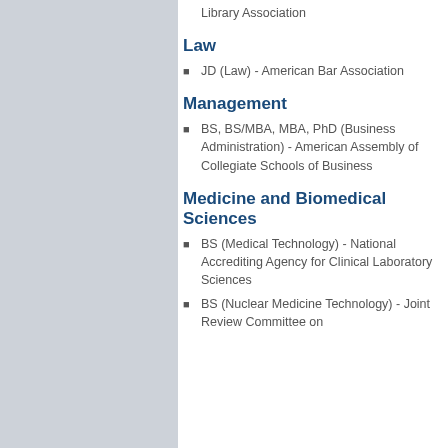Library Association
Law
JD (Law) - American Bar Association
Management
BS, BS/MBA, MBA, PhD (Business Administration) - American Assembly of Collegiate Schools of Business
Medicine and Biomedical Sciences
BS (Medical Technology) - National Accrediting Agency for Clinical Laboratory Sciences
BS (Nuclear Medicine Technology) - Joint Review Committee on